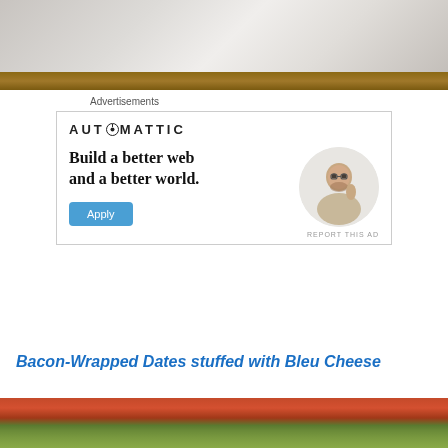[Figure (photo): Top portion of a room interior showing ceiling and wall, partially visible]
Advertisements
[Figure (other): Automattic advertisement: 'Build a better web and a better world.' with Apply button and portrait of a man thinking]
Bacon-Wrapped Dates stuffed with Bleu Cheese
[Figure (photo): Bottom portion showing food items on a red/orange background with green vegetables]